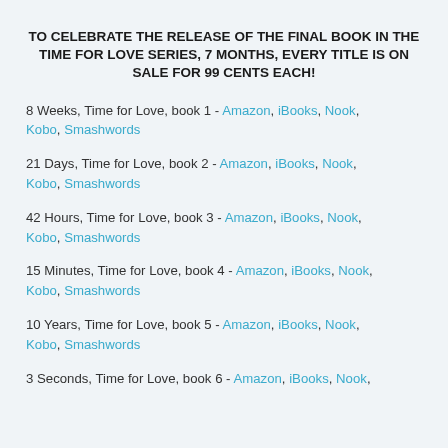TO CELEBRATE THE RELEASE OF THE FINAL BOOK IN THE TIME FOR LOVE SERIES, 7 MONTHS, EVERY TITLE IS ON SALE FOR 99 CENTS EACH!
8 Weeks, Time for Love, book 1 - Amazon, iBooks, Nook, Kobo, Smashwords
21 Days, Time for Love, book 2 - Amazon, iBooks, Nook, Kobo, Smashwords
42 Hours, Time for Love, book 3 - Amazon, iBooks, Nook, Kobo, Smashwords
15 Minutes, Time for Love, book 4 - Amazon, iBooks, Nook, Kobo, Smashwords
10 Years, Time for Love, book 5 - Amazon, iBooks, Nook, Kobo, Smashwords
3 Seconds, Time for Love, book 6 - Amazon, iBooks, Nook,